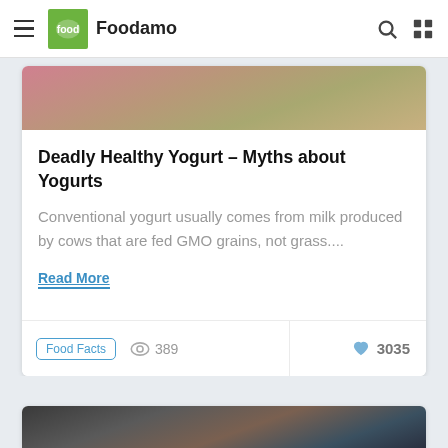Foodamo
[Figure (photo): Partial view of colorful food items in a basket or bowl, cropped at top of card]
Deadly Healthy Yogurt – Myths about Yogurts
Conventional yogurt usually comes from milk produced by cows that are fed GMO grains, not grass....
Read More
Food Facts   389   3035
[Figure (photo): Partial view of what appears to be kitchen tools or food items, dark tones, bottom of page]